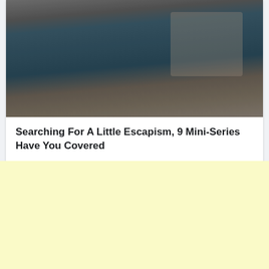[Figure (photo): Two people in a physical altercation or playful struggle on a floor, one person laughing, viewed from an overhead/mirror angle, indoor setting with door frame visible]
Searching For A Little Escapism, 9 Mini-Series Have You Covered
More...
565  141  188
Hanuma Vihari and Shreyas Iyer make the team in
[Figure (other): Light yellow advertisement banner]